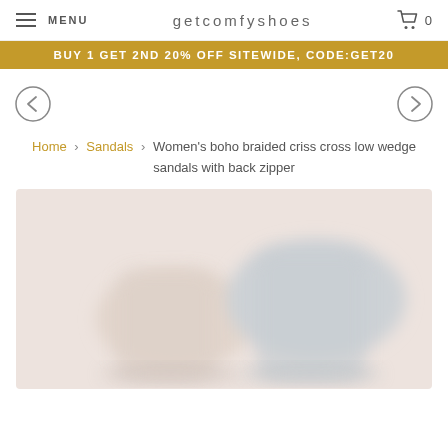MENU  getcomfyshoes  0
BUY 1 GET 2ND 20% OFF SITEWIDE, CODE:GET20
[Figure (other): Left arrow navigation button (circle with <)]
[Figure (other): Right arrow navigation button (circle with >)]
Home > Sandals > Women's boho braided criss cross low wedge sandals with back zipper
[Figure (photo): Blurred product photo of women's boho braided criss cross low wedge sandals with back zipper, light beige/cream tones]